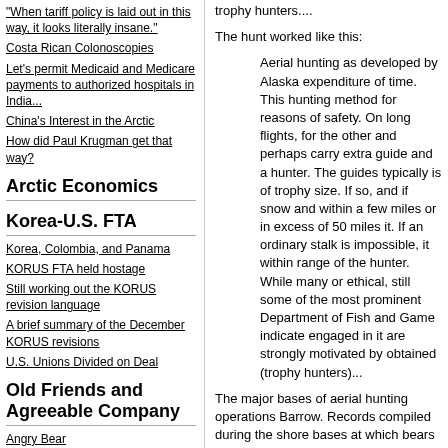"When tariff policy is laid out in this way, it looks literally insane."
Costa Rican Colonoscopies
Let's permit Medicaid and Medicare payments to authorized hospitals in India...
China's Interest in the Arctic
How did Paul Krugman get that way?
Arctic Economics
Korea-U.S. FTA
Korea, Colombia, and Panama
KORUS FTA held hostage
Still working out the KORUS revision language
A brief summary of the December KORUS revisions
U.S. Unions Divided on Deal
Old Friends and Agreeable Company
Angry Bear
Fazeer Sheik Rahim at "An Economist in Paradise"
trophy hunters....
The hunt worked like this:
Aerial hunting as developed by Alaska expenditure of time. This hunting method for reasons of safety. On long flights, for the other and perhaps carry extra guide and a hunter. The guides typically is of trophy size. If so, and if snow and within a few miles or in excess of 50 miles it. If an ordinary stalk is impossible, it within range of the hunter. While many or ethical, still some of the most prominent Department of Fish and Game indicate engaged in it are strongly motivated by obtained (trophy hunters)...
The major bases of aerial hunting operations Barrow. Records compiled during the shore bases at which bears are taken is miles), and those from Barrow fly the seldom get more than a few miles off shore.
Here's a neat set of slides taken by a bear researcher areas for the old aerial hunts, and researching bears on the Chukchi from the air, and close up have seen 40-50 years ago: Polar Bear Capture
This business of landing a fixed wing plane on